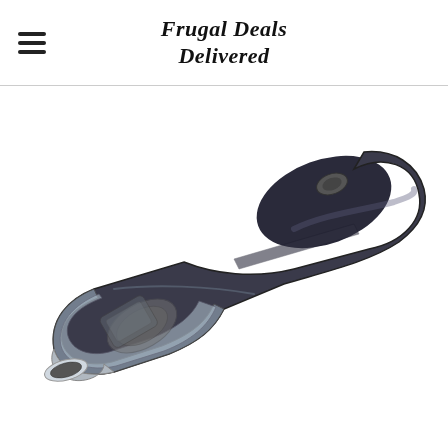Frugal Deals Delivered
[Figure (photo): A Black+Decker handheld cordless vacuum cleaner shown at an angle, with a transparent dustbin and dark body, photographed against a white background.]